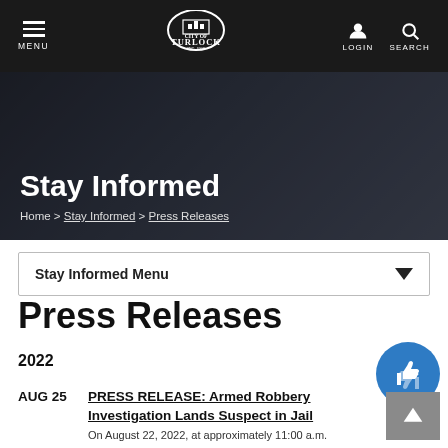MENU | City of Turlock | LOGIN | SEARCH
[Figure (photo): Hero banner with a hand holding a smartphone, dark overlay, showing 'Stay Informed' page header]
Stay Informed
Home > Stay Informed > Press Releases
Stay Informed Menu
Press Releases
2022
AUG 25 — PRESS RELEASE: Armed Robbery Investigation Lands Suspect in Jail — On August 22, 2022, at approximately 11:00 a.m.